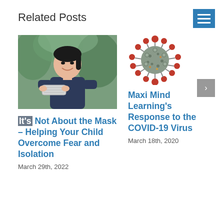Related Posts
[Figure (photo): Young Asian girl smiling and holding a face mask outdoors]
It's Not About the Mask – Helping Your Child Overcome Fear and Isolation
March 29th, 2022
[Figure (photo): 3D illustration of a coronavirus (COVID-19) particle with red spike proteins on grey surface]
Maxi Mind Learning's Response to the COVID-19 Virus
March 18th, 2020